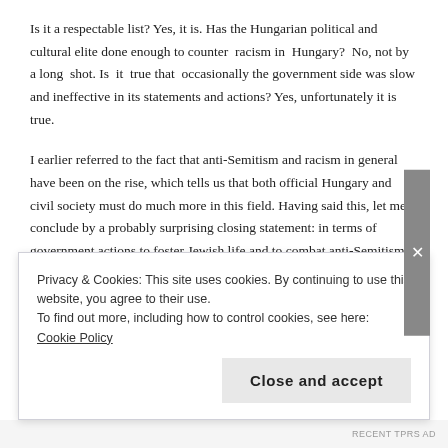Is it a respectable list? Yes, it is. Has the Hungarian political and cultural elite done enough to counter racism in Hungary? No, not by a long shot. Is it true that occasionally the government side was slow and ineffective in its statements and actions? Yes, unfortunately it is true.
I earlier referred to the fact that anti-Semitism and racism in general have been on the rise, which tells us that both official Hungary and civil society must do much more in this field. Having said this, let me conclude by a probably surprising closing statement: in terms of government actions to foster Jewish life and to combat anti-Semitism in Hungary, all of the milestones I cited a minute ago, I mean: all of them, with the one exception of the Jewish Heritage Fund, have been introduced with the first three governments administration of Pri...
Privacy & Cookies: This site uses cookies. By continuing to use this website, you agree to their use.
To find out more, including how to control cookies, see here: Cookie Policy
Close and accept